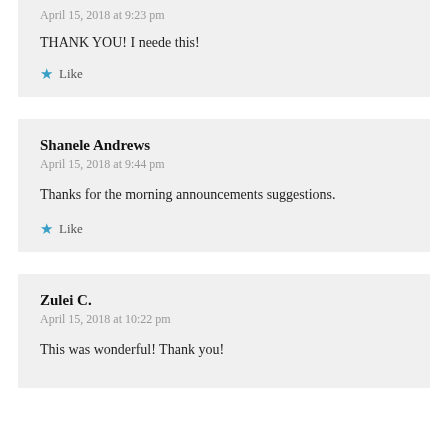April 15, 2018 at 9:23 pm
THANK YOU! I neede this!
Like
Shanele Andrews
April 15, 2018 at 9:44 pm
Thanks for the morning announcements suggestions.
Like
Zulei C.
April 15, 2018 at 10:22 pm
This was wonderful! Thank you!